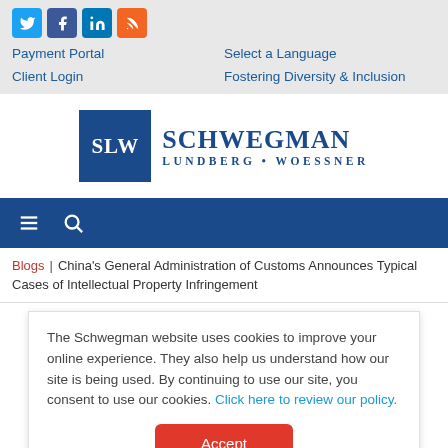[Figure (logo): Social media icons: Twitter (blue), Facebook (dark blue), LinkedIn (blue), RSS (orange)]
Payment Portal
Select a Language
Client Login
Fostering Diversity & Inclusion
[Figure (logo): Schwegman Lundberg Woessner law firm logo with SLW monogram in dark blue square]
[Figure (screenshot): Navy navigation bar with hamburger menu icon and search icon]
Blogs | China's General Administration of Customs Announces Typical Cases of Intellectual Property Infringement
The Schwegman website uses cookies to improve your online experience. They also help us understand how our site is being used. By continuing to use our site, you consent to use our cookies. Click here to review our policy.